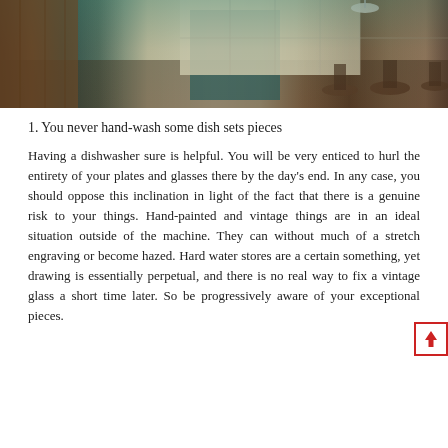[Figure (photo): Interior kitchen photo showing modern cabinetry with light-colored flat-front cabinets, dark wood flooring, teal/dark accent island, white pendant light, and bar stools.]
1. You never hand-wash some dish sets pieces
Having a dishwasher sure is helpful. You will be very enticed to hurl the entirety of your plates and glasses there by the day's end. In any case, you should oppose this inclination in light of the fact that there is a genuine risk to your things. Hand-painted and vintage things are in an ideal situation outside of the machine. They can without much of a stretch engraving or become hazed. Hard water stores are a certain something, yet drawing is essentially perpetual, and there is no real way to fix a vintage glass a short time later. So be progressively aware of your exceptional pieces.